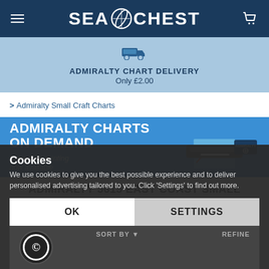SEA CHEST
ADMIRALTY CHART DELIVERY
Only £2.00
> Admiralty Small Craft Charts
[Figure (infographic): Admiralty Charts On Demand banner — blue background with large white bold text 'ADMIRALTY CHARTS ON DEMAND', italic white text 'Immediate printing now available', image of wide-format printer with a nautical chart, and Admiralty logo badge.]
ADMIRALTY 5615 EAST COAST SMALL CRAFT CHARTS
★★★★★
Rated by our customers
Cookies
We use cookies to give you the best possible experience and to deliver personalised advertising tailored to you. Click 'Settings' to find out more.
OK
SETTINGS
SORT BY ▼    REFINE